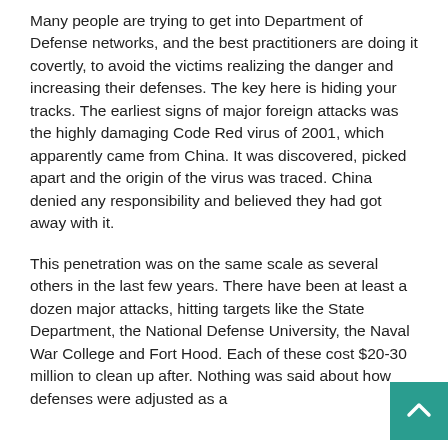Many people are trying to get into Department of Defense networks, and the best practitioners are doing it covertly, to avoid the victims realizing the danger and increasing their defenses. The key here is hiding your tracks. The earliest signs of major foreign attacks was the highly damaging Code Red virus of 2001, which apparently came from China. It was discovered, picked apart and the origin of the virus was traced. China denied any responsibility and believed they had got away with it.
This penetration was on the same scale as several others in the last few years. There have been at least a dozen major attacks, hitting targets like the State Department, the National Defense University, the Naval War College and Fort Hood. Each of these cost $20-30 million to clean up after. Nothing was said about how defenses were adjusted as a